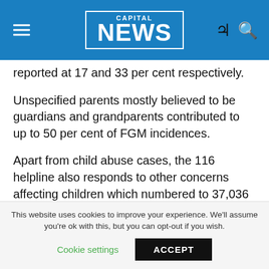CAPITAL NEWS
reported at 17 and 33 per cent respectively.
Unspecified parents mostly believed to be guardians and grandparents contributed to up to 50 per cent of FGM incidences.
Apart from child abuse cases, the 116 helpline also responds to other concerns affecting children which numbered to 37,036 between 2014-2016.
888,209 calls made during this period were either prank calls, blank/silent, calls with insufficient information or unrelated to the helpline.
This website uses cookies to improve your experience. We'll assume you're ok with this, but you can opt-out if you wish. Cookie settings ACCEPT